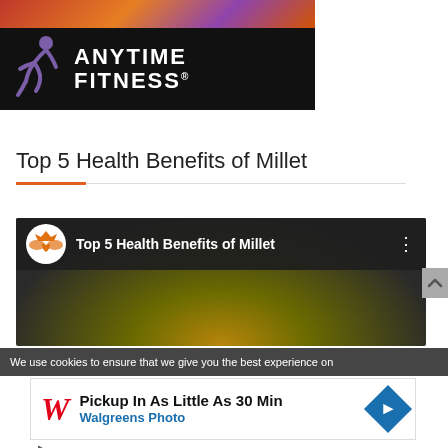[Figure (logo): Anytime Fitness logo on black background with purple running figure icon and white bold text ANYTIME FITNESS]
Top 5 Health Benefits of Millet
[Figure (screenshot): YouTube-style video thumbnail for 'Top 5 Health Benefits of Millet' with channel icon, title and dark food background]
We use cookies to ensure that we give you the best experience on
[Figure (infographic): Walgreens Photo advertisement: Pickup In As Little As 30 Min, Walgreens Photo, with Walgreens W logo and navigation direction icon]